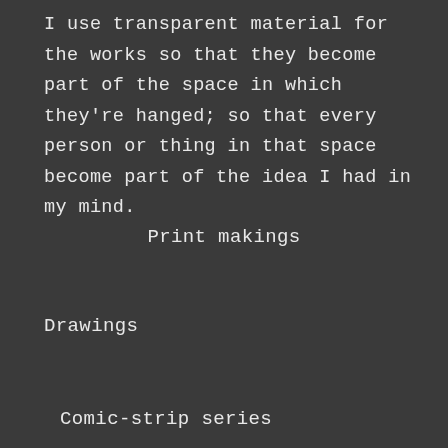I use transparent material for the works so that they become part of the space in which they're hanged; so that every person or thing in that space become part of the idea I had in my mind.
Print makings
Drawings
Comic-strip series